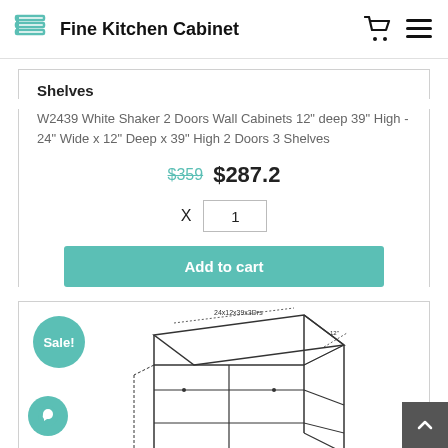Fine Kitchen Cabinet
Shelves
W2439 White Shaker 2 Doors Wall Cabinets 12" deep 39" High - 24" Wide x 12" Deep x 39" High 2 Doors 3 Shelves
$359 $287.2
X 1
Add to cart
[Figure (illustration): Technical line drawing/schematic of a wall cabinet (W2439 White Shaker) showing dimensions with a Sale! badge in the top left corner]